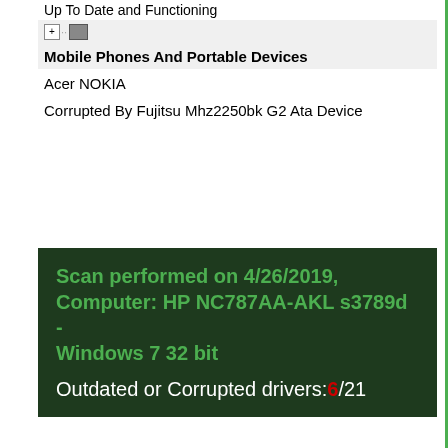Up To Date and Functioning
Mobile Phones And Portable Devices
Acer NOKIA
Corrupted By Fujitsu Mhz2250bk G2 Ata Device
Scan performed on 4/26/2019, Computer: HP NC787AA-AKL s3789d - Windows 7 32 bit
Outdated or Corrupted drivers: 6/21
Device/Driver
Status
Status Description
Updated By Scanner
Motherboards
Intel(R) ICH7 Family Ultra ATA Storage Controllers - 27DF
Up To Date and Functioning